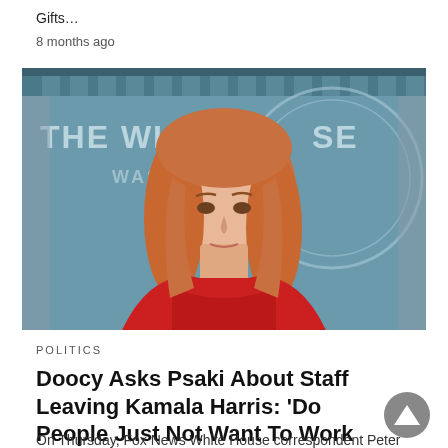Gifts…
8 months ago
[Figure (photo): Woman with red hair wearing a red jacket speaking at the White House briefing room podium. The White House seal is visible in the background with text 'THE WHITE HOUSE WASHINGTON'.]
POLITICS
Doocy Asks Psaki About Staff Leaving Kamala Harris: 'Do People Just Not Want To Work For Her Anymore?'
On Thursday, Fox News White House correspondent Peter